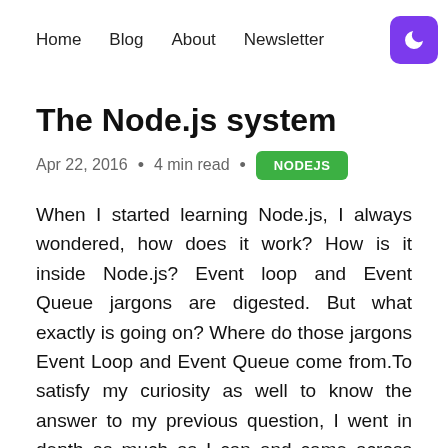Home  Blog  About  Newsletter
The Node.js system
Apr 22, 2016  •  4 min read  •  NODEJS
When I started learning Node.js, I always wondered, how does it work? How is it inside Node.js? Event loop and Event Queue jargons are digested. But what exactly is going on? Where do those jargons Event Loop and Event Queue come from.To satisfy my curiosity as well to know the answer to my previous question, I went in depth as much as I can and came across some things which I'd like to share with you. In brief, this